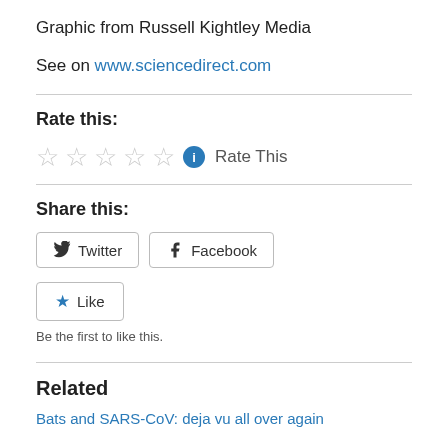Graphic from Russell Kightley Media
See on www.sciencedirect.com
Rate this:
Rate This
Share this:
Twitter
Facebook
Like
Be the first to like this.
Related
Bats and SARS-CoV: deja vu all over again